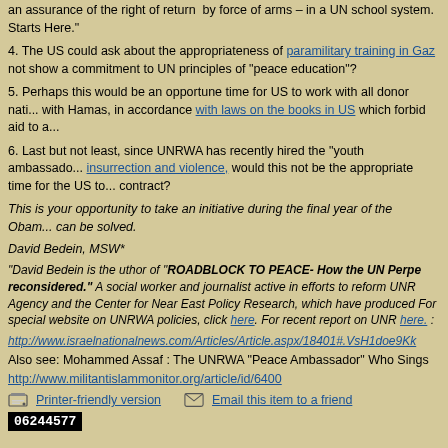an assurance of the right of return by force of arms – in a UN school system. Starts Here."
4. The US could ask about the appropriateness of paramilitary training in Gaz... not show a commitment to UN principles of "peace education"?
5. Perhaps this would be an opportune time for US to work with all donor nati... with Hamas, in accordance with laws on the books in US which forbid aid to a...
6. Last but not least, since UNRWA has recently hired the "youth ambassado... insurrection and violence, would this not be the appropriate time for the US to... contract?
This is your opportunity to take an initiative during the final year of the Obama... can be solved.
David Bedein, MSW*
"David Bedein is the uthor of "ROADBLOCK TO PEACE- How the UN Perpe... reconsidered." A social worker and journalist active in efforts to reform UNR... Agency and the Center for Near East Policy Research, which have produced... For special website on UNRWA policies, click here. For recent report on UNR... here. :
http://www.israelnationalnews.com/Articles/Article.aspx/18401#.VsH1doe9Kk
Also see: Mohammed Assaf : The UNRWA "Peace Ambassador" Who Sings
http://www.militantislammonitor.org/article/id/6400
Printer-friendly version   Email this item to a friend
06244577